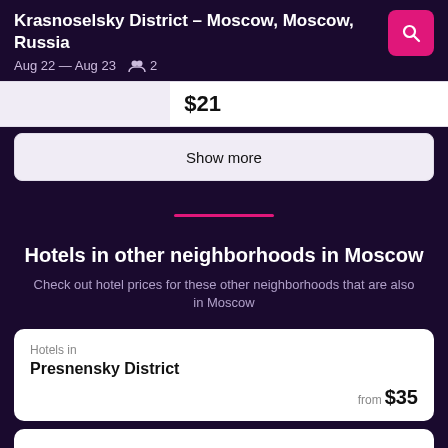Krasnoselsky District – Moscow, Moscow, Russia
Aug 22 — Aug 23  2
$21
Show more
Hotels in other neighborhoods in Moscow
Check out hotel prices for these other neighborhoods that are also in Moscow
Hotels in
Presnensky District
from $35